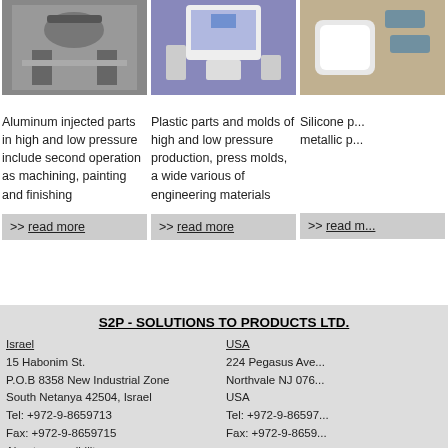[Figure (photo): Aluminum injected parts / machinery close-up, industrial setting]
Aluminum injected parts in high and low pressure include second operation as machining, painting and finishing
>> read more
[Figure (photo): Medical/electronic device - laptop/ultrasound machine on purple background]
Plastic parts and molds of high and low pressure production, press molds, a wide various of engineering materials
>> read more
[Figure (photo): Silicone or plastic parts with metallic parts on wooden background]
Silicone p... metallic p...
>> read m...
S2P - SOLUTIONS TO PRODUCTS LTD.
Israel
15 Habonim St.
P.O.B 8358 New Industrial Zone
South Netanya 42504, Israel
Tel: +972-9-8659713
Fax: +972-9-8659715
About-accessibility
USA
224 Pegasus Ave...
Northvale NJ 076...
USA
Tel: +972-9-86597...
Fax: +972-9-8659...